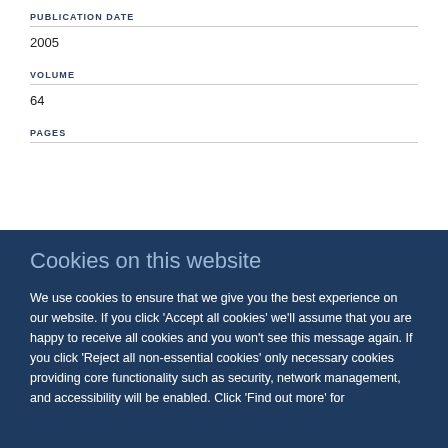PUBLICATION DATE
2005
VOLUME
64
PAGES
Cookies on this website
We use cookies to ensure that we give you the best experience on our website. If you click 'Accept all cookies' we'll assume that you are happy to receive all cookies and you won't see this message again. If you click 'Reject all non-essential cookies' only necessary cookies providing core functionality such as security, network management, and accessibility will be enabled. Click 'Find out more' for